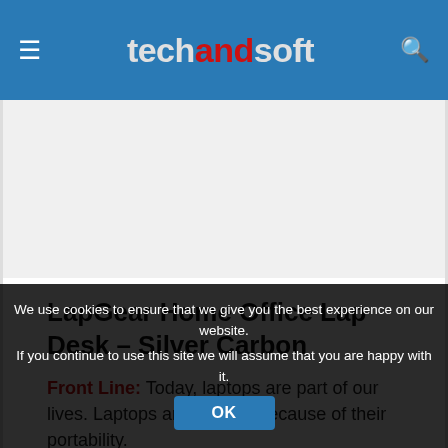techandsoft
[Figure (other): Advertisement placeholder area, blank/white space]
LapGear Home Office Lap Desk – Silver Carbon
Front Line: Today, laptops are part of our lives. Laptops are popular because of their portability.
We use cookies to ensure that we give you the best experience on our website. If you continue to use this site we will assume that you are happy with it. OK